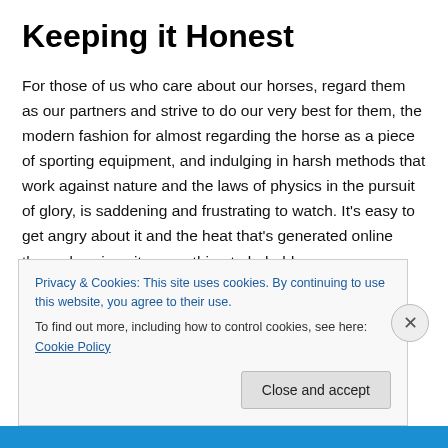Keeping it Honest
For those of us who care about our horses, regard them as our partners and strive to do our very best for them, the modern fashion for almost regarding the horse as a piece of sporting equipment, and indulging in harsh methods that work against nature and the laws of physics in the pursuit of glory, is saddening and frustrating to watch. It’s easy to get angry about it and the heat that’s generated online these days is quite something to behold.
Privacy & Cookies: This site uses cookies. By continuing to use this website, you agree to their use.
To find out more, including how to control cookies, see here: Cookie Policy
Close and accept